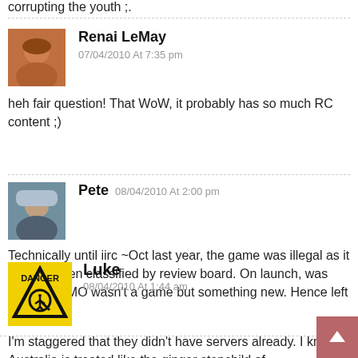corrupting the youth ;.
[Figure (photo): Avatar image of Renai LeMay]
Renai LeMay
07/04/2010 At 7:35 pm
heh fair question! That WoW, it probably has so much RC content ;)
[Figure (photo): Avatar image of Pete]
Pete
08/04/2010 At 2:00 pm
Technically until iirc ~Oct last year, the game was illegal as it had not been classified by review board. On launch, was decided MMO wasn't a game but something new. Hence left in limbo...
[Figure (illustration): Danger sign avatar for Luke]
Luke
08/04/2010 At 1:44 am
I'm staggered that they didn't have servers already. I know Australia is treated like the ginger stepchild of